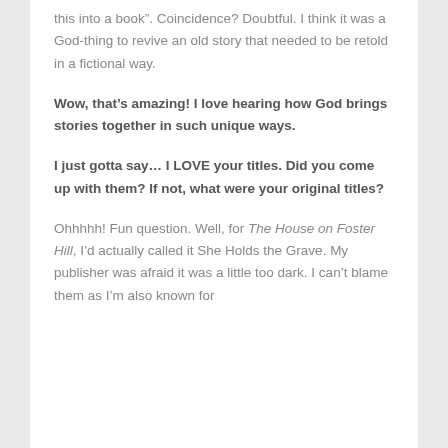this into a book”. Coincidence? Doubtful. I think it was a God-thing to revive an old story that needed to be retold in a fictional way.
Wow, that’s amazing! I love hearing how God brings stories together in such unique ways.
I just gotta say… I LOVE your titles. Did you come up with them? If not, what were your original titles?
Ohhhhh! Fun question. Well, for The House on Foster Hill, I’d actually called it She Holds the Grave. My publisher was afraid it was a little too dark. I can’t blame them as I’m also known for